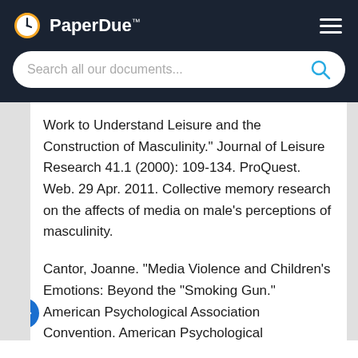PaperDue™
Work to Understand Leisure and the Construction of Masculinity." Journal of Leisure Research 41.1 (2000): 109-134. ProQuest. Web. 29 Apr. 2011. Collective memory research on the affects of media on male's perceptions of masculinity.
Cantor, Joanne. "Media Violence and Children's Emotions: Beyond the "Smoking Gun." American Psychological Association Convention. American Psychological Association. Convention Center. District of